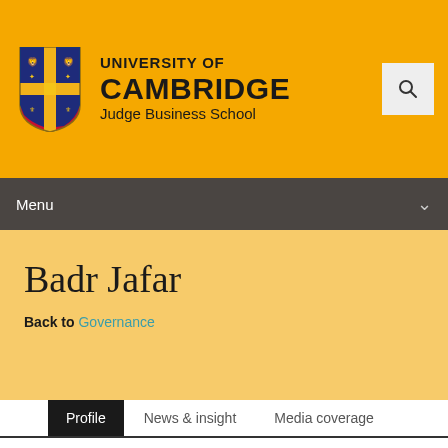UNIVERSITY OF CAMBRIDGE Judge Business School
Menu
Badr Jafar
Back to Governance
Profile | News & insight | Media coverage